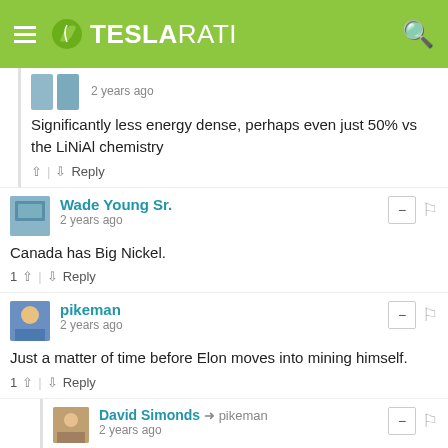TESLARATI
2 years ago
Significantly less energy dense, perhaps even just 50% vs the LiNiAl chemistry
↑ | ↓ Reply
Wade Young Sr.
2 years ago
Canada has Big Nickel.
1 ↑ | ↓ Reply
pikeman
2 years ago
Just a matter of time before Elon moves into mining himself.
1 ↑ | ↓ Reply
David Simonds → pikeman
2 years ago
The family have an emerald mine